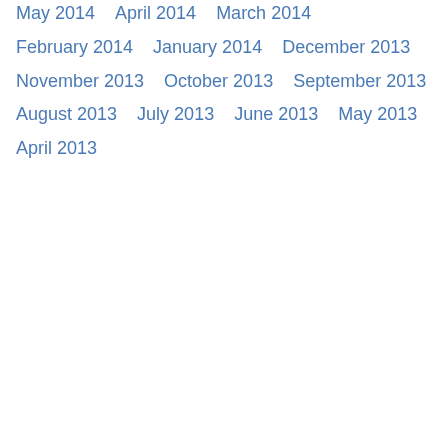May 2014
April 2014
March 2014
February 2014
January 2014
December 2013
November 2013
October 2013
September 2013
August 2013
July 2013
June 2013
May 2013
April 2013